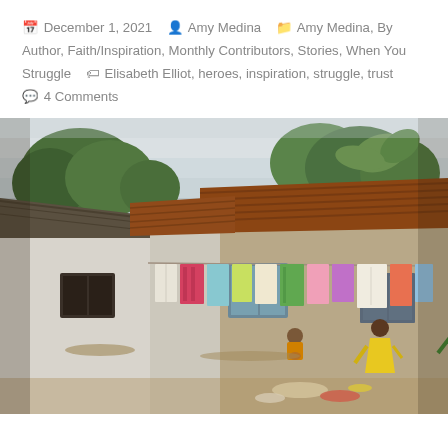📅 December 1, 2021   👤 Amy Medina   🗂 Amy Medina, By Author, Faith/Inspiration, Monthly Contributors, Stories, When You Struggle   🏷 Elisabeth Elliot, heroes, inspiration, struggle, trust   💬 4 Comments
[Figure (photo): Outdoor scene in an African village showing modest brick and concrete houses with corrugated iron roofs. Colorful laundry hangs on a clothesline strung between buildings. A child in a yellow dress and another person in a green dress are visible near the clothesline. Another small child sits in the background near the left building. Sandy dirt ground with some clothes lying on the ground in the foreground. Trees visible in the background.]